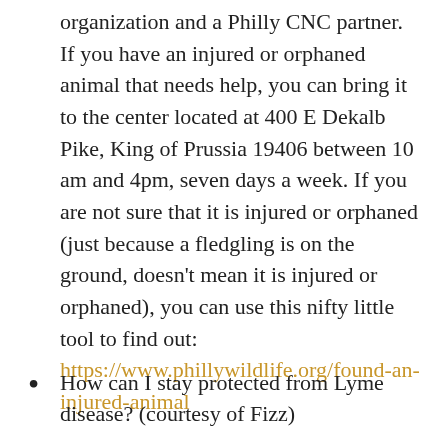organization and a Philly CNC partner. If you have an injured or orphaned animal that needs help, you can bring it to the center located at 400 E Dekalb Pike, King of Prussia 19406 between 10 am and 4pm, seven days a week. If you are not sure that it is injured or orphaned (just because a fledgling is on the ground, doesn't mean it is injured or orphaned), you can use this nifty little tool to find out: https://www.phillywildlife.org/found-an-injured-animal
How can I stay protected from Lyme disease? (courtesy of Fizz)